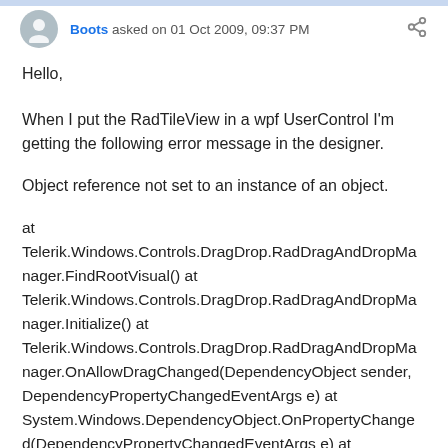Boots asked on 01 Oct 2009, 09:37 PM
Hello,
When I put the RadTileView in a wpf UserControl I'm getting the following error message in the designer.
Object reference not set to an instance of an object.
at Telerik.Windows.Controls.DragDrop.RadDragAndDropManager.FindRootVisual() at Telerik.Windows.Controls.DragDrop.RadDragAndDropManager.Initialize() at Telerik.Windows.Controls.DragDrop.RadDragAndDropManager.OnAllowDragChanged(DependencyObject sender, DependencyPropertyChangedEventArgs e) at System.Windows.DependencyObject.OnPropertyChanged(DependencyPropertyChangedEventArgs e) at